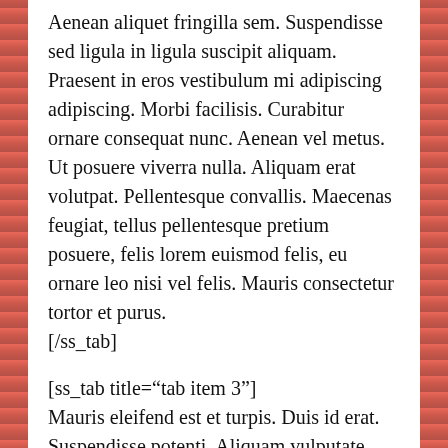Aenean aliquet fringilla sem. Suspendisse sed ligula in ligula suscipit aliquam. Praesent in eros vestibulum mi adipiscing adipiscing. Morbi facilisis. Curabitur ornare consequat nunc. Aenean vel metus. Ut posuere viverra nulla. Aliquam erat volutpat. Pellentesque convallis. Maecenas feugiat, tellus pellentesque pretium posuere, felis lorem euismod felis, eu ornare leo nisi vel felis. Mauris consectetur tortor et purus.
[/ss_tab]
[ss_tab title="tab item 3"]
Mauris eleifend est et turpis. Duis id erat. Suspendisse potenti. Aliquam vulputate, pede vel vehicula accumsan, mi neque rutrum erat